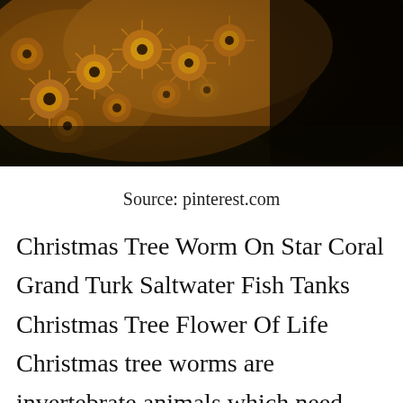[Figure (photo): Close-up photograph of Christmas tree worms on star coral, showing colorful spiral feather duster-like structures in orange and gold tones against a dark background.]
Source: pinterest.com
Christmas Tree Worm On Star Coral Grand Turk Saltwater Fish Tanks Christmas Tree Flower Of Life Christmas tree worms are invertebrate animals which need carbon and nitrogen for nourishment heterotrophic. Can be difficult to care for initially but once it is acclimated can be